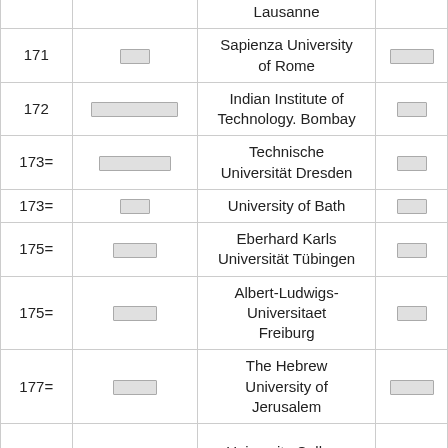| Rank | Score | Institution | Change |
| --- | --- | --- | --- |
|  | [redacted] | Lausanne | [redacted] |
| 171 | [redacted] | Sapienza University of Rome | [redacted] |
| 172 | [redacted] | Indian Institute of Technology. Bombay | [redacted] |
| 173= | [redacted] | Technische Universität Dresden | [redacted] |
| 173= | [redacted] | University of Bath | [redacted] |
| 175= | [redacted] | Eberhard Karls Universität Tübingen | [redacted] |
| 175= | [redacted] | Albert-Ludwigs-Universitaet Freiburg | [redacted] |
| 177= | [redacted] | The Hebrew University of Jerusalem | [redacted] |
|  |  | University College |  |